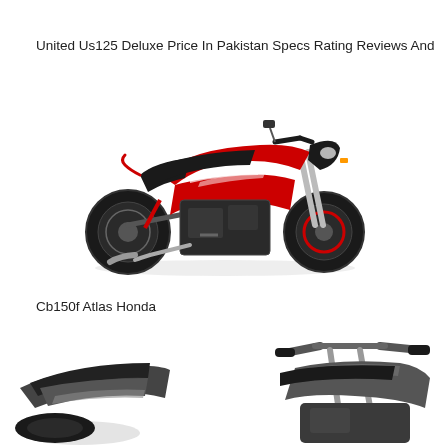United Us125 Deluxe Price In Pakistan Specs Rating Reviews And
[Figure (photo): Red and black United US125 Deluxe motorcycle facing right on white background]
Cb150f Atlas Honda
[Figure (photo): Grey/dark Honda CB150F motorcycle partial view showing handlebars and fuel tank, cropped at bottom of page]